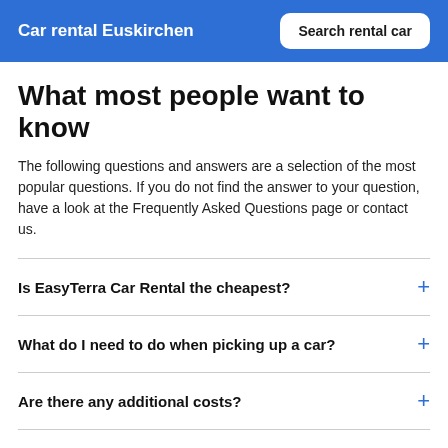Car rental Euskirchen | Search rental car
What most people want to know
The following questions and answers are a selection of the most popular questions. If you do not find the answer to your question, have a look at the Frequently Asked Questions page or contact us.
Is EasyTerra Car Rental the cheapest?
What do I need to do when picking up a car?
Are there any additional costs?
What kind of insurance is applicable to my car rental?